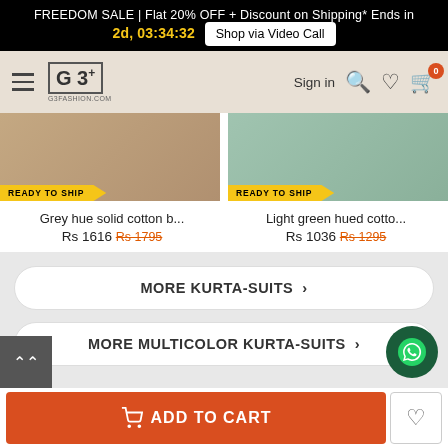FREEDOM SALE | Flat 20% OFF + Discount on Shipping* Ends in 2d, 03:34:32  Shop via Video Call
G3+ G3FASHION.COM  Sign in  0
[Figure (photo): Grey hue solid cotton product image with READY TO SHIP badge]
[Figure (photo): Light green hued cotton product image with READY TO SHIP badge]
Grey hue solid cotton b...
Rs 1616   Rs 1795
Light green hued cotto...
Rs 1036   Rs 1295
MORE KURTA-SUITS ›
MORE MULTICOLOR KURTA-SUITS ›
ADD TO CART